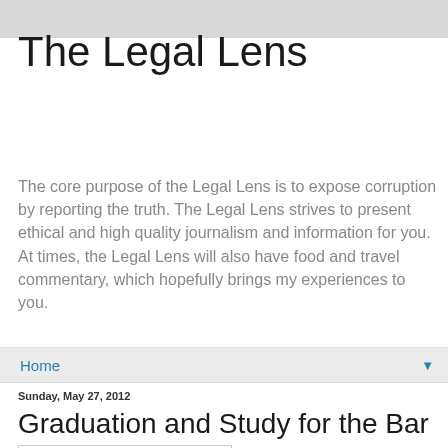The Legal Lens
The core purpose of the Legal Lens is to expose corruption by reporting the truth. The Legal Lens strives to present ethical and high quality journalism and information for you. At times, the Legal Lens will also have food and travel commentary, which hopefully brings my experiences to you.
Home
Sunday, May 27, 2012
Graduation and Study for the Bar
[Figure (photo): Image placeholder with border, white background]